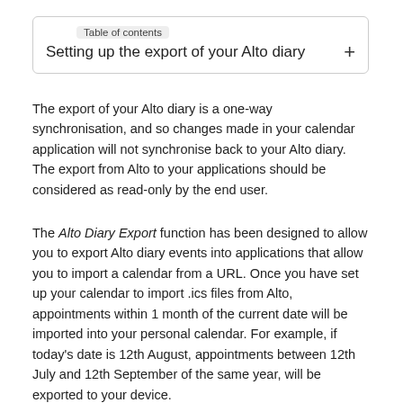Setting up the export of your Alto diary
The export of your Alto diary is a one-way synchronisation, and so changes made in your calendar application will not synchronise back to your Alto diary. The export from Alto to your applications should be considered as read-only by the end user.
The Alto Diary Export function has been designed to allow you to export Alto diary events into applications that allow you to import a calendar from a URL. Once you have set up your calendar to import .ics files from Alto, appointments within 1 month of the current date will be imported into your personal calendar. For example, if today's date is 12th August, appointments between 12th July and 12th September of the same year, will be exported to your device.